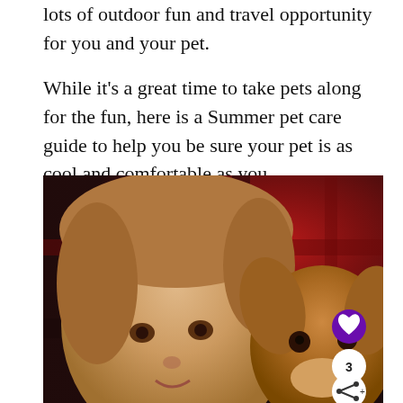lots of outdoor fun and travel opportunity for you and your pet.
While it's a great time to take pets along for the fun, here is a Summer pet care guide to help you be sure your pet is as cool and comfortable as you.
[Figure (photo): A young girl with light brown hair posing cheek-to-cheek with a golden/brown dog against a red and dark plaid background. Social sharing buttons (heart, count of 3, share) are visible in the lower right corner of the image.]